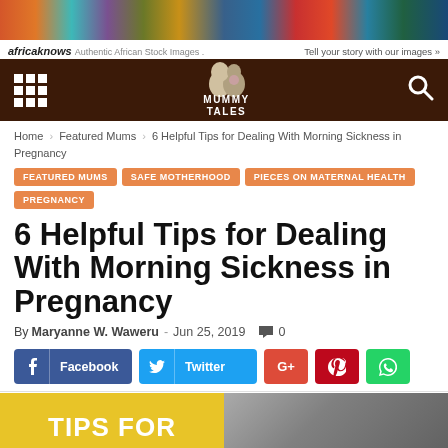[Figure (other): Africa Knows advertisement banner with colorful African fabrics/patterns image. Shows 'africaknows Authentic African Stock Images' on left and 'Tell your story with our images »' on right.]
Mummy Tales navigation bar with grid menu icon, Mummy Tales logo, and search icon on dark brown background.
Home › Featured Mums › 6 Helpful Tips for Dealing With Morning Sickness in Pregnancy
FEATURED MUMS
SAFE MOTHERHOOD
PIECES ON MATERNAL HEALTH
PREGNANCY
6 Helpful Tips for Dealing With Morning Sickness in Pregnancy
By Maryanne W. Waweru - Jun 25, 2019  🗨 0
[Figure (other): Social sharing buttons row: Facebook (blue), Twitter (cyan), G+ (red), Pinterest (red), WhatsApp (green)]
[Figure (other): Article featured image split: left half yellow/gold with white text 'TIPS FOR', right half shows a person working on a laptop.]